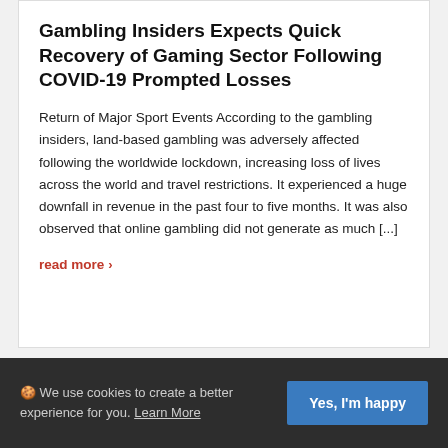Gambling Insiders Expects Quick Recovery of Gaming Sector Following COVID-19 Prompted Losses
Return of Major Sport Events According to the gambling insiders, land-based gambling was adversely affected following the worldwide lockdown, increasing loss of lives across the world and travel restrictions. It experienced a huge downfall in revenue in the past four to five months. It was also observed that online gambling did not generate as much [...]
read more ›
🍪 We use cookies to create a better experience for you. Learn More | Yes, I'm happy